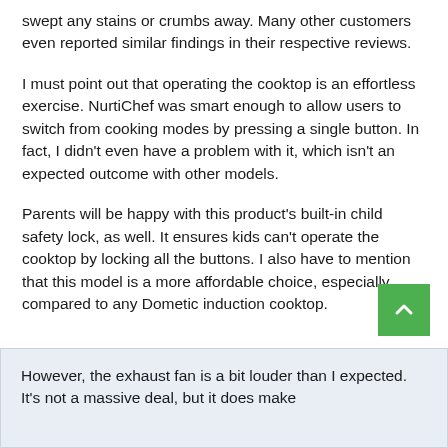swept any stains or crumbs away. Many other customers even reported similar findings in their respective reviews.
I must point out that operating the cooktop is an effortless exercise. NurtiChef was smart enough to allow users to switch from cooking modes by pressing a single button. In fact, I didn't even have a problem with it, which isn't an expected outcome with other models.
Parents will be happy with this product's built-in child safety lock, as well. It ensures kids can't operate the cooktop by locking all the buttons. I also have to mention that this model is a more affordable choice, especially compared to any Dometic induction cooktop.
However, the exhaust fan is a bit louder than I expected. It's not a massive deal, but it does make